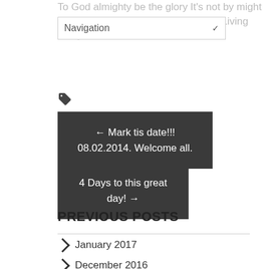To God almighty be the glory It's not by might nor by power but by the Spirit of the Living God,we have come this far.
Navigation
[Figure (other): Tag/label icon]
← Mark tis date!!! 08.02.2014. Welcome all.
4 Days to this great day! →
PREVIOUS POSTS
January 2017
December 2016